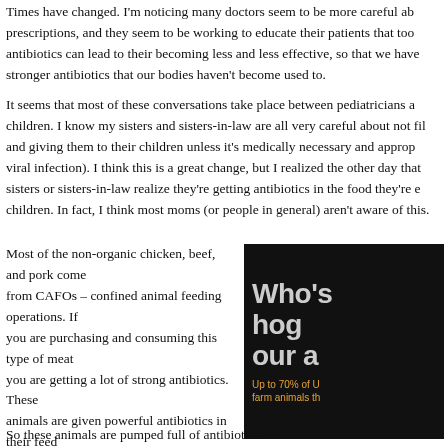Times have changed. I'm noticing many doctors seem to be more careful about prescriptions, and they seem to be working to educate their patients that too many antibiotics can lead to their becoming less and less effective, so that we have to use stronger antibiotics that our bodies haven't become used to.
It seems that most of these conversations take place between pediatricians and their children. I know my sisters and sisters-in-law are all very careful about not filling and giving them to their children unless it's medically necessary and appropriate (not viral infection). I think this is a great change, but I realized the other day that my sisters or sisters-in-law realize they're getting antibiotics in the food they're eating for their children. In fact, I think most moms (or people in general) aren't aware of this.
Most of the non-organic chicken, beef, and pork come from CAFOs – confined animal feeding operations. If you are purchasing and consuming this type of meat you are getting a lot of strong antibiotics. These animals are given powerful antibiotics in their feed every day to help them grow faster and bigger than nature intended, and to help them try to survive the harsh, stressful, and unsanitary conditions they are raised in.
[Figure (photo): Dark background image with large bold grey text reading 'Who's hog... our a...' and orange subtext reading 'Up to 70% of U... farm animals th...']
So these animals are pumped full of antibiotics to